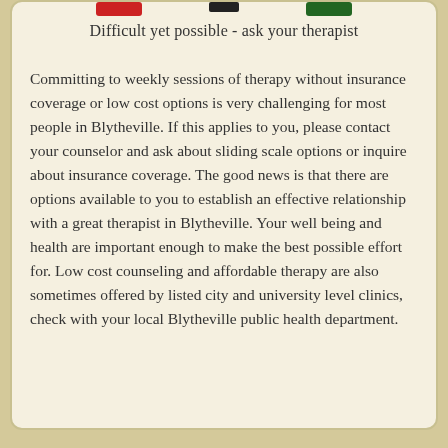Difficult yet possible - ask your therapist
Committing to weekly sessions of therapy without insurance coverage or low cost options is very challenging for most people in Blytheville. If this applies to you, please contact your counselor and ask about sliding scale options or inquire about insurance coverage. The good news is that there are options available to you to establish an effective relationship with a great therapist in Blytheville. Your well being and health are important enough to make the best possible effort for. Low cost counseling and affordable therapy are also sometimes offered by listed city and university level clinics, check with your local Blytheville public health department.